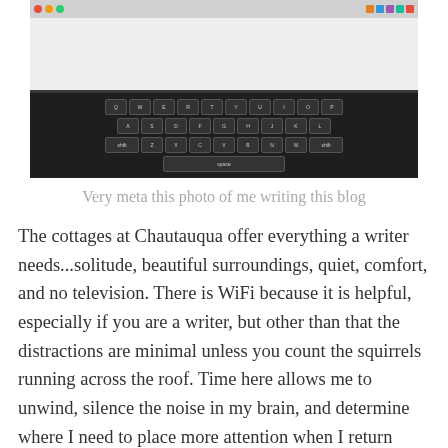[Figure (photo): A MacBook laptop photographed from above showing the keyboard and screen with macOS taskbar visible]
Very meta this photo of me writing this blog
The cottages at Chautauqua offer everything a writer needs...solitude, beautiful surroundings, quiet, comfort, and no television. There is WiFi because it is helpful, especially if you are a writer, but other than that the distractions are minimal unless you count the squirrels running across the roof. Time here allows me to unwind, silence the noise in my brain, and determine where I need to place more attention when I return home and what I need to jettison to usher in a calmer, steadier existence. The last time I visited here was